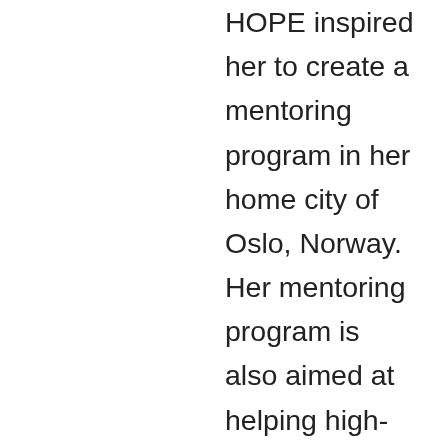HOPE inspired her to create a mentoring program in her home city of Oslo, Norway. Her mentoring program is also aimed at helping high-risk youth by preventing school dropouts, harmful substance use, and crime by helping the youth improve their academic capabilities, social competence, and general self-image. After she graduates, Ingrid plans to stay in Oslo and continue expanding the mentoring program while also working on other projects related to harm reduction in substance use and drug policy reform. In 2023, Ingrid hopes to start